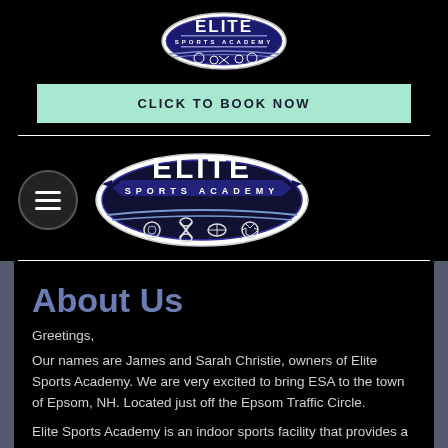[Figure (logo): Elite Sports Academy logo - oval shaped logo with ELITE text and sports equipment icons, blue and white colors]
[Figure (other): Click To Book Now button in mint/light green color]
[Figure (logo): Hamburger menu icon in dark circle, and Elite Sports Academy large oval logo side by side in navigation bar]
About Us
Greetings,
Our names are James and Sarah Christie, owners of Elite Sports Academy. We are very excited to bring ESA to the town of Epsom, NH. Located just off the Epsom Traffic Circle.
Elite Sports Academy is an indoor sports facility that provides a multi-sport turf field, with the ability to